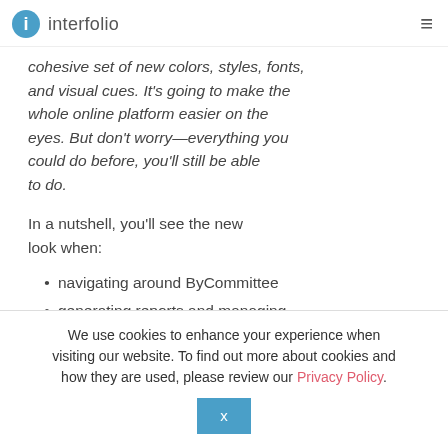interfolio
cohesive set of new colors, styles, fonts, and visual cues. It's going to make the whole online platform easier on the eyes. But don't worry—everything you could do before, you'll still be able to do.
In a nutshell, you'll see the new look when:
navigating around ByCommittee
generating reports and managing
We use cookies to enhance your experience when visiting our website. To find out more about cookies and how they are used, please review our Privacy Policy.